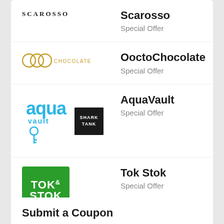[Figure (logo): Scarosso brand logo — uppercase serif text SCAROSSO]
Scarosso
Special Offer
[Figure (logo): OoctoChocolate logo — three interlocking circles in gold/bronze with CHOCOLATE text]
OoctoChocolate
Special Offer
[Figure (logo): AquaVault logo in blue with Shark Tank badge]
AquaVault
Special Offer
[Figure (logo): Tok Stok logo — green square with white bold text TOK & STOK]
Tok Stok
Special Offer
Submit a Coupon